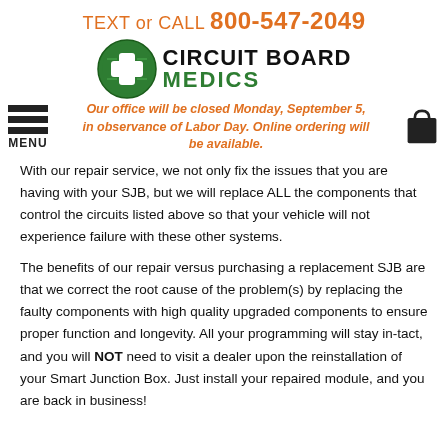TEXT or CALL 800-547-2049
[Figure (logo): Circuit Board Medics logo — green circle with white cross/plus and circuit board design, company name in bold black and green text]
Our office will be closed Monday, September 5, in observance of Labor Day. Online ordering will be available.
With our repair service, we not only fix the issues that you are having with your SJB, but we will replace ALL the components that control the circuits listed above so that your vehicle will not experience failure with these other systems.
The benefits of our repair versus purchasing a replacement SJB are that we correct the root cause of the problem(s) by replacing the faulty components with high quality upgraded components to ensure proper function and longevity. All your programming will stay in-tact, and you will NOT need to visit a dealer upon the reinstallation of your Smart Junction Box. Just install your repaired module, and you are back in business!